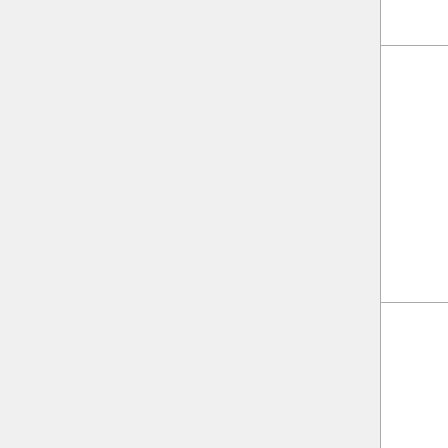|  | Species | Study/Link |
| --- | --- | --- |
|  |  | VEGF |
|  | Homo sapiens | Selection of suitable reference genes for expression analysis human glioma using qPCR |
|  | Homo sapiens | Identification of a suitable qPCR reference gene in metastatic clear cell renal cell carcinoma |
|  | Homo sapiens | Reference loci for RT-qPCR analysis of differentiating human embryonic stem cells |
|  | Homo sapiens | Validation of reliable reference genes for real-time PCR in human umbilical vein endothelial cells |